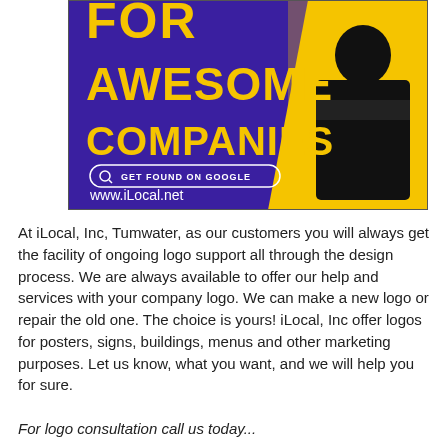[Figure (illustration): Advertisement banner for iLocal with purple and yellow background. Large yellow bold text reads 'FOR AWESOME COMPANIES'. A person in black clothing stands on the right with arms crossed. A search bar graphic reads 'GET FOUND ON GOOGLE' and below it says 'www.iLocal.net'.]
At iLocal, Inc, Tumwater, as our customers you will always get the facility of ongoing logo support all through the design process. We are always available to offer our help and services with your company logo. We can make a new logo or repair the old one. The choice is yours! iLocal, Inc offer logos for posters, signs, buildings, menus and other marketing purposes. Let us know, what you want, and we will help you for sure.
For logo consultation call us today...